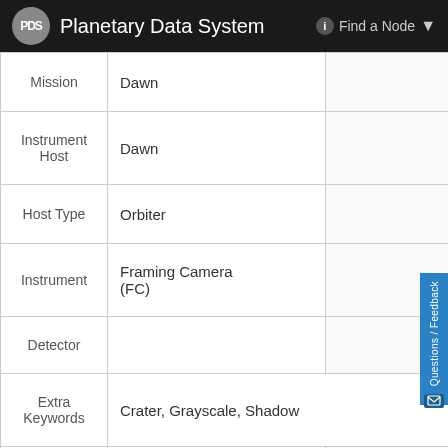PDS Planetary Data System — Find a Node
| Field | Value |  |
| --- | --- | --- |
| Mission | Dawn |  |
| Instrument Host | Dawn |  |
| Host Type | Orbiter |  |
| Instrument | Framing Camera (FC) |  |
| Detector |  |  |
| Extra Keywords | Crater, Grayscale, Shadow |  |
| Acquisition Date |  |  |
| Release Date | 2016-11-18 |  |
| Date in Caption |  |  |
| Image Credit | NASA/JPL-Caltech/UCLA/MPS/DLR/IDA |  |